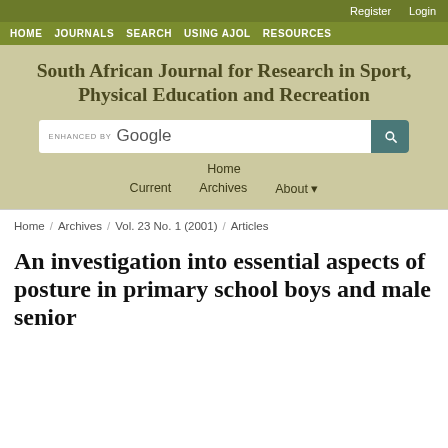Register  Login
HOME  JOURNALS  SEARCH  USING AJOL  RESOURCES
South African Journal for Research in Sport, Physical Education and Recreation
[Figure (other): Google custom search bar with search button]
Home
Current   Archives   About
Home / Archives / Vol. 23 No. 1 (2001) / Articles
An investigation into essential aspects of posture in primary school boys and male senior